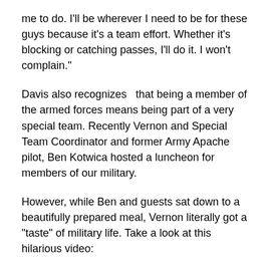me to do. I'll be wherever I need to be for these guys because it's a team effort. Whether it's blocking or catching passes, I'll do it. I won't complain."
Davis also recognizes  that being a member of the armed forces means being part of a very special team. Recently Vernon and Special Team Coordinator and former Army Apache pilot, Ben Kotwica hosted a luncheon for members of our military.
However, while Ben and guests sat down to a beautifully prepared meal, Vernon literally got a "taste" of military life. Take a look at this hilarious video: